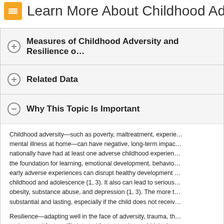Learn More About Childhood Adve…
Measures of Childhood Adversity and Resilience o…
Related Data
Why This Topic Is Important
Childhood adversity—such as poverty, maltreatment, experie… mental illness at home—can have negative, long-term impac… nationally have had at least one adverse childhood experien… the foundation for learning, emotional development, behavio… early adverse experiences can disrupt healthy development … childhood and adolescence (1, 3). It also can lead to serious … obesity, substance abuse, and depression (1, 3). The more t… substantial and lasting, especially if the child does not receiv…
Resilience—adapting well in the face of adversity, trauma, th… and external factors (2). Internal factors go beyond biologi…